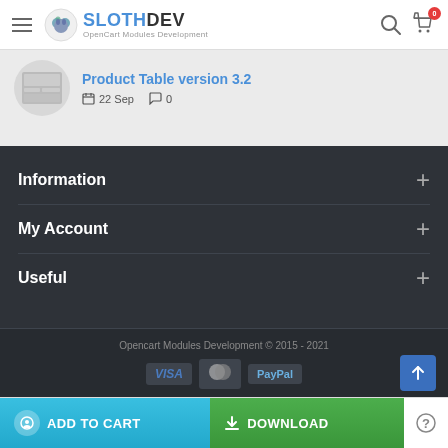SLOTHDEV - OpenCart Modules Development
Product Table version 3.2
22 Sep  0
Information
My Account
Useful
Opencart Modules Development © 2015 - 2021
ADD TO CART  DOWNLOAD